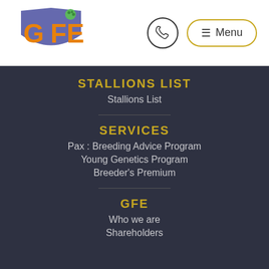[Figure (logo): GFE logo with stylized shield and horse-related emblem, text GFE in orange]
[Figure (other): Phone icon inside a circle]
[Figure (other): Menu button with hamburger icon and text Menu inside a rounded rectangle with gold border]
STALLIONS LIST
Stallions List
SERVICES
Pax : Breeding Advice Program
Young Genetics Program
Breeder's Premium
GFE
Who we are
Shareholders